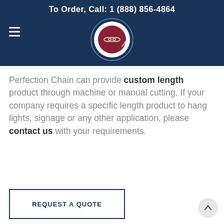To Order, Call: 1 (888) 856-4864
[Figure (logo): Perfection Chain Products circular logo with chain and red/maroon center]
Perfection Chain can provide custom length product through machine or manual cutting. If your company requires a specific length product to hang lights, signage or any other application, please contact us with your requirements.
REQUEST A QUOTE